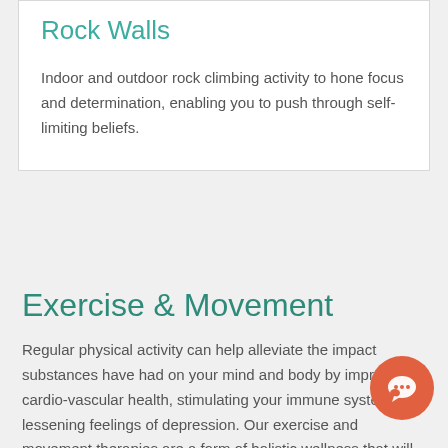Rock Walls
Indoor and outdoor rock climbing activity to hone focus and determination, enabling you to push through self-limiting beliefs.
Exercise & Movement
Regular physical activity can help alleviate the impact substances have had on your mind and body by improving cardio-vascular health, stimulating your immune system and lessening feelings of depression. Our exercise and movement therapies are a form of holistic wellness that will not only help you get back in shape but help to release endorphins, positively altering your brain chemistry and